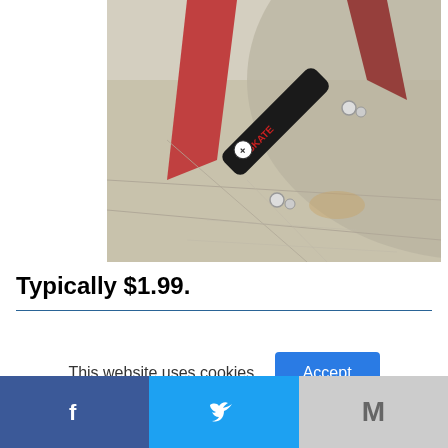[Figure (photo): A skateboard propped up at a skate park, resting on a concrete ramp surface. The skateboard is dark with white wheel trucks visible. The background shows a red/pink ramp structure and concrete surfaces.]
Typically $1.99.
This website uses cookies.
[Figure (infographic): Social share bar with Facebook (blue), Twitter (light blue), and Gmail/Google (grey) sharing buttons at the bottom of the page.]